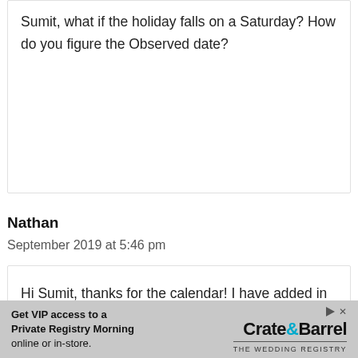Sumit, what if the holiday falls on a Saturday? How do you figure the Observed date?
Nathan
September 2019 at 5:46 pm
Hi Sumit, thanks for the calendar! I have added in a column to include half days, is there a way to change the formula so
Get VIP access to a Private Registry Morning online or in-store. Crate&Barrel THE WEDDING REGISTRY